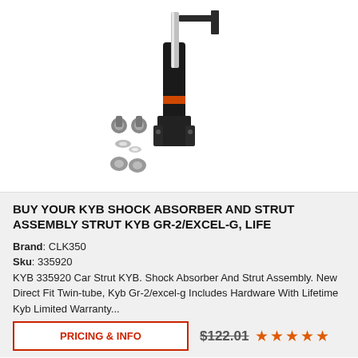[Figure (photo): KYB shock absorber and strut assembly product photo showing the strut unit with chrome rod, black body with orange KYB label, mounting bracket, and hardware components (bolts, washers, nuts) arranged below on white background.]
BUY YOUR KYB SHOCK ABSORBER AND STRUT ASSEMBLY STRUT KYB GR-2/EXCEL-G, LIFE
Brand: CLK350
Sku: 335920
KYB 335920 Car Strut KYB. Shock Absorber And Strut Assembly. New Direct Fit Twin-tube, Kyb Gr-2/excel-g Includes Hardware With Lifetime Kyb Limited Warranty...
PRICING & INFO   $122.01   ★★★★★